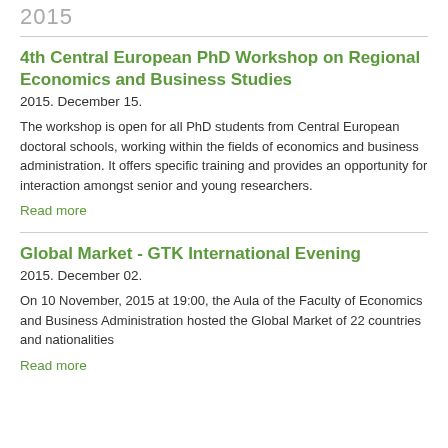2015
4th Central European PhD Workshop on Regional Economics and Business Studies
2015. December 15.
The workshop is open for all PhD students from Central European doctoral schools, working within the fields of economics and business administration. It offers specific training and provides an opportunity for interaction amongst senior and young researchers.
Read more
Global Market - GTK International Evening
2015. December 02.
On 10 November, 2015 at 19:00, the Aula of the Faculty of Economics and Business Administration hosted the Global Market of 22 countries and nationalities
Read more